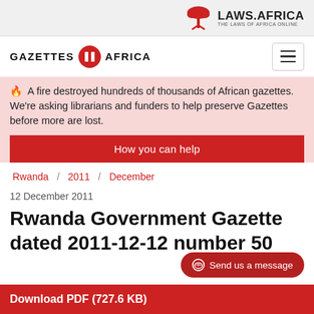LAWS.AFRICA
GAZETTES AFRICA
🔥  A fire destroyed hundreds of thousands of African gazettes. We're asking librarians and funders to help preserve Gazettes before more are lost.
How you can help
Rwanda / 2011 / December
12 December 2011
Rwanda Government Gazette dated 2011-12-12 number 50
Download PDF (727.6 KB)
Send us a message